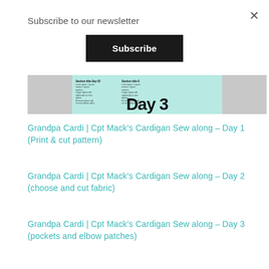Subscribe to our newsletter
Subscribe
[Figure (screenshot): Partial image of a sewing pattern document showing 'Day 3' text in large bold font with teal/green background and two columns of small text above]
Grandpa Cardi | Cpt Mack’s Cardigan Sew along – Day 1 (Print & cut pattern)
Grandpa Cardi | Cpt Mack’s Cardigan Sew along – Day 2 (choose and cut fabric)
Grandpa Cardi | Cpt Mack’s Cardigan Sew along – Day 3 (pockets and elbow patches)